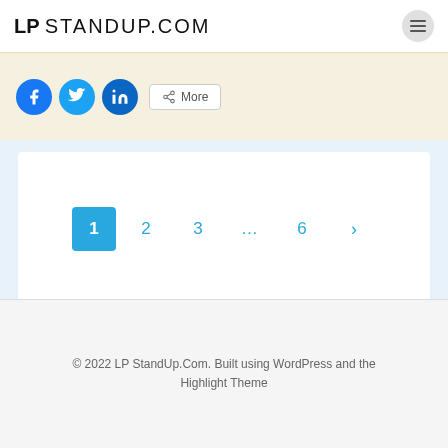LP STANDUP.COM
[Figure (screenshot): Social share buttons: Facebook, Twitter, LinkedIn circles and a More button]
[Figure (other): Pagination navigation showing pages 1 (active), 2, 3, ..., 6, and next arrow]
© 2022 LP StandUp.Com. Built using WordPress and the Highlight Theme